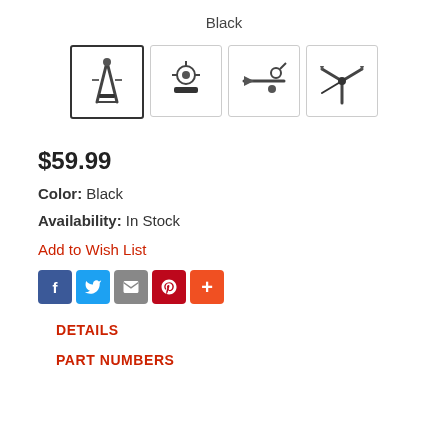Black
[Figure (photo): Four thumbnail images of a black multi-tool/knife accessory shown from different angles. First thumbnail is selected with a bold border.]
$59.99
Color:  Black
Availability: In Stock
Add to Wish List
[Figure (infographic): Social sharing icons: Facebook (blue), Twitter (light blue), Email (grey), Pinterest (red), More/Plus (orange-red)]
DETAILS
PART NUMBERS